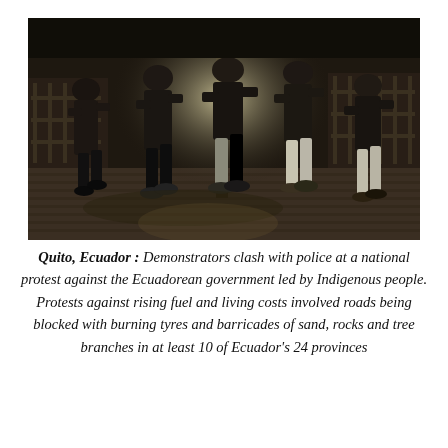[Figure (photo): Nighttime photograph of demonstrators clashing with police on a brick-paved plaza. Several people are shown in motion, mid-fight, with barriers and a street lamp visible in the background.]
Quito, Ecuador : Demonstrators clash with police at a national protest against the Ecuadorean government led by Indigenous people. Protests against rising fuel and living costs involved roads being blocked with burning tyres and barricades of sand, rocks and tree branches in at least 10 of Ecuador's 24 provinces